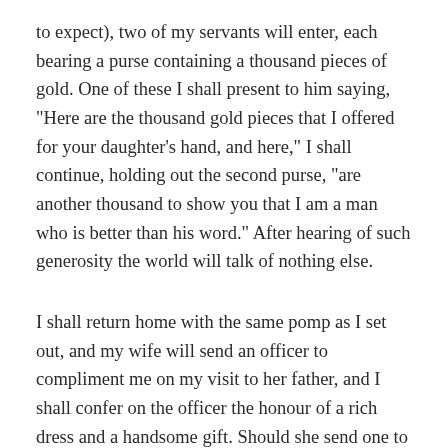to expect), two of my servants will enter, each bearing a purse containing a thousand pieces of gold. One of these I shall present to him saying, "Here are the thousand gold pieces that I offered for your daughter's hand, and here," I shall continue, holding out the second purse, "are another thousand to show you that I am a man who is better than his word." After hearing of such generosity the world will talk of nothing else.
I shall return home with the same pomp as I set out, and my wife will send an officer to compliment me on my visit to her father, and I shall confer on the officer the honour of a rich dress and a handsome gift. Should she send one to me I shall refuse it and dismiss the bearer. I shall never